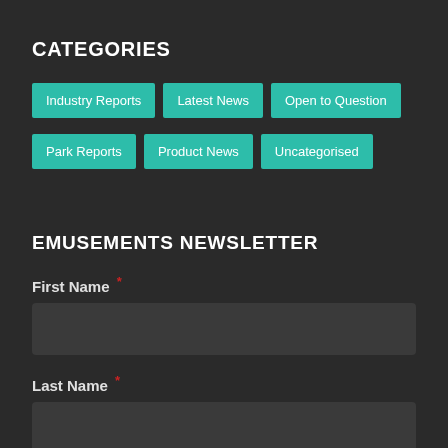CATEGORIES
Industry Reports
Latest News
Open to Question
Park Reports
Product News
Uncategorised
EMUSEMENTS NEWSLETTER
First Name *
Last Name *